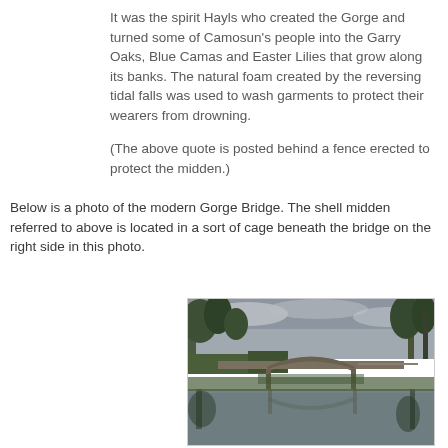It was the spirit Hayls who created the Gorge and turned some of Camosun's people into the Garry Oaks, Blue Camas and Easter Lilies that grow along its banks. The natural foam created by the reversing tidal falls was used to wash garments to protect their wearers from drowning.

(The above quote is posted behind a fence erected to protect the midden.)
Below is a photo of the modern Gorge Bridge. The shell midden referred to above is located in a sort of cage beneath the bridge on the right side in this photo.
[Figure (photo): HDR photograph of the modern Gorge Bridge reflected in calm water, with trees on both sides and overcast sky.]